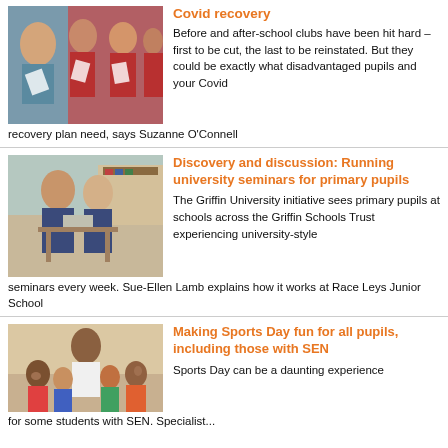[Figure (photo): Teacher and students in red school uniforms holding papers]
Covid recovery
Before and after-school clubs have been hit hard – first to be cut, the last to be reinstated. But they could be exactly what disadvantaged pupils and your Covid recovery plan need, says Suzanne O'Connell
[Figure (photo): Two young boys in school uniforms looking at something together in a classroom]
Discovery and discussion: Running university seminars for primary pupils
The Griffin University initiative sees primary pupils at schools across the Griffin Schools Trust experiencing university-style seminars every week. Sue-Ellen Lamb explains how it works at Race Leys Junior School
[Figure (photo): Teacher with group of students giving thumbs up, sports day setting]
Making Sports Day fun for all pupils, including those with SEN
Sports Day can be a daunting experience for some students with SEN. Specialist...